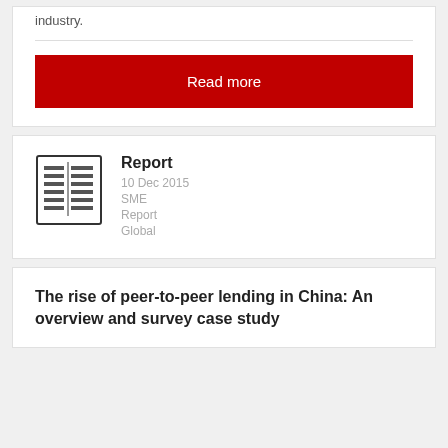industry.
[Figure (other): Red 'Read more' button]
[Figure (other): Report document icon]
Report
10 Dec 2015
SME
Report
Global
The rise of peer-to-peer lending in China: An overview and survey case study